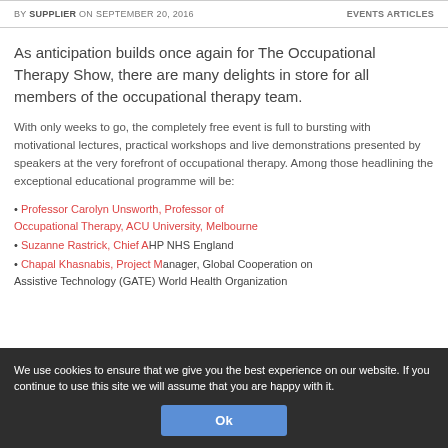BY SUPPLIER ON SEPTEMBER 20, 2016 | EVENTS ARTICLES
As anticipation builds once again for The Occupational Therapy Show, there are many delights in store for all members of the occupational therapy team.
With only weeks to go, the completely free event is full to bursting with motivational lectures, practical workshops and live demonstrations presented by speakers at the very forefront of occupational therapy. Among those headlining the exceptional educational programme will be:
• Professor Carolyn Unsworth, Professor of Occupational Therapy, ACU University, Melbourne
• Suzanne Rastrick, Chief AHP NHS England
• Chapal Khasnabis, Project Manager, Global Cooperation on Assistive Technology (GATE) World Health Organization